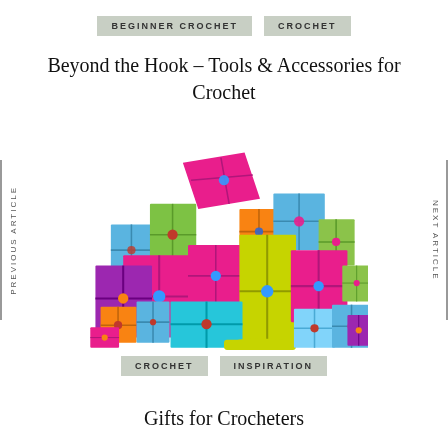BEGINNER CROCHET   CROCHET
Beyond the Hook – Tools & Accessories for Crochet
PREVIOUS ARTICLE
NEXT ARTICLE
[Figure (photo): A colorful pile of wrapped gift boxes in bright colors including green, magenta/pink, orange, blue, and purple, stacked in a large heap on a white background]
CROCHET   INSPIRATION
Gifts for Crocheters